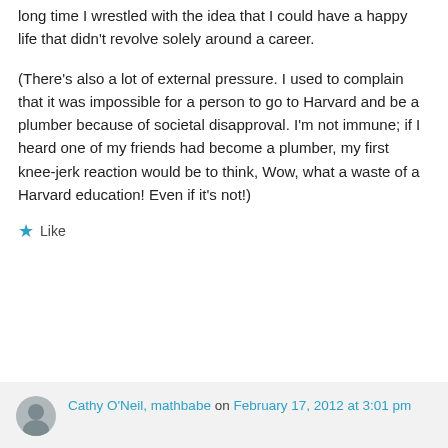long time I wrestled with the idea that I could have a happy life that didn't revolve solely around a career.
(There's also a lot of external pressure. I used to complain that it was impossible for a person to go to Harvard and be a plumber because of societal disapproval. I'm not immune; if I heard one of my friends had become a plumber, my first knee-jerk reaction would be to think, Wow, what a waste of a Harvard education! Even if it's not!)
★ Like
Cathy O'Neil, mathbabe on February 17, 2012 at 3:01 pm